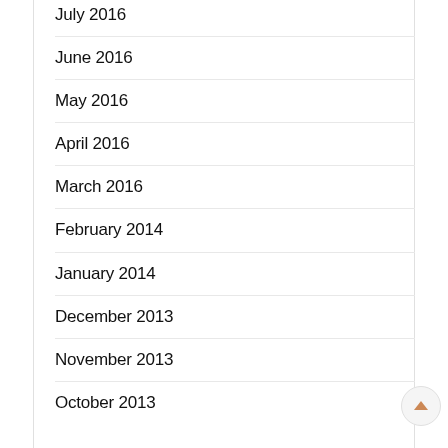July 2016
June 2016
May 2016
April 2016
March 2016
February 2014
January 2014
December 2013
November 2013
October 2013